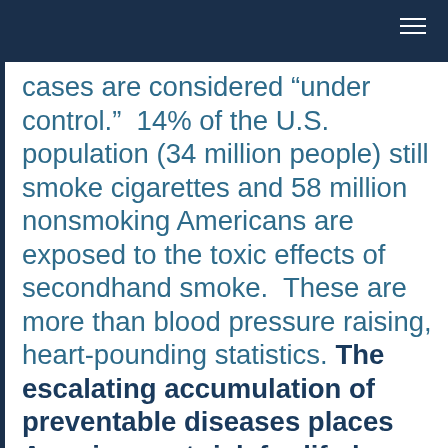cases are considered “under control.”  14% of the U.S. population (34 million people) still smoke cigarettes and 58 million nonsmoking Americans are exposed to the toxic effects of secondhand smoke.  These are more than blood pressure raising, heart-pounding statistics. The escalating accumulation of preventable diseases places Americans at risk for life-long medical care, simply to